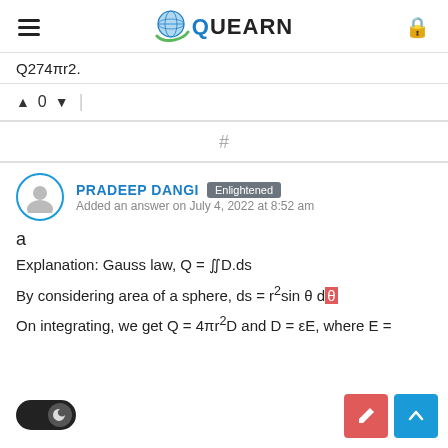QUEARN
Q274πr2.
▲ 0 ▼
#
PRADEEP DANGI Enlightened Added an answer on July 4, 2022 at 8:52 am
a
Explanation: Gauss law, Q = ∬D.ds
By considering area of a sphere, ds = r2sin θ dθ
On integrating, we get Q = 4πr2D and D = εE, where E =